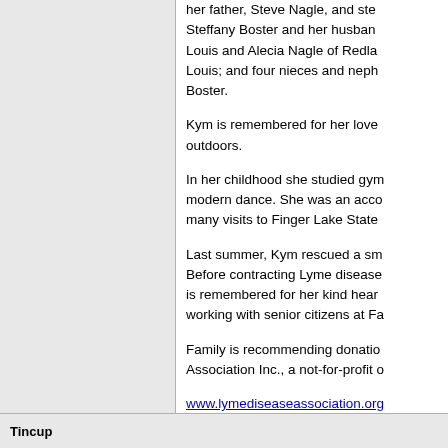her father, Steve Nagle, and ste... Steffany Boster and her husban... Louis and Alecia Nagle of Redla... Louis; and four nieces and neph... Boster.
Kym is remembered for her love... outdoors.
In her childhood she studied gym... modern dance. She was an acco... many visits to Finger Lake State...
Last summer, Kym rescued a sm... Before contracting Lyme disease... is remembered for her kind hear... working with senior citizens at Fa...
Family is recommending donatio... Association Inc., a not-for-profit o...
www.lymediseaseassociation.org
or directly to the Lyme Disease A... Box 1438, Jackson, N.J., 08527...
[ 09-08-2011, 11:15 AM: Message edite...
Posts: 20353 | From The Moon | Registe...
Tincup